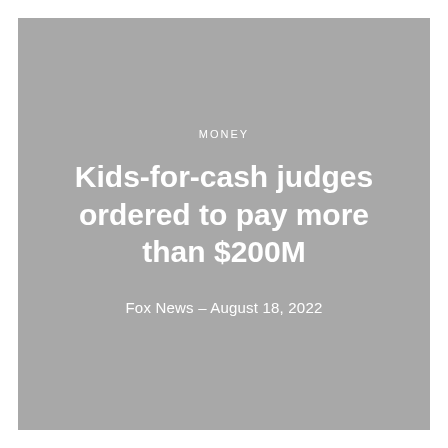MONEY
Kids-for-cash judges ordered to pay more than $200M
Fox News - August 18, 2022